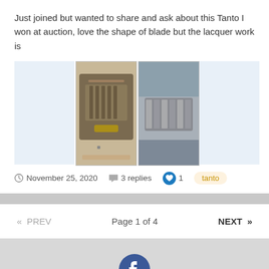Just joined but wanted to share and ask about this Tanto I won at auction, love the shape of blade but the lacquer work is
[Figure (photo): Two thumbnail photos of a Japanese tanto sword: first shows the handle and tsuba on a white surface, second shows close-up of the blade wrapping]
November 25, 2020   3 replies   1   tanto
« PREV   Page 1 of 4   NEXT »
Privacy Policy   Contact Us
© 2006–2021 Nihonto Message Board
Powered by Invision Community